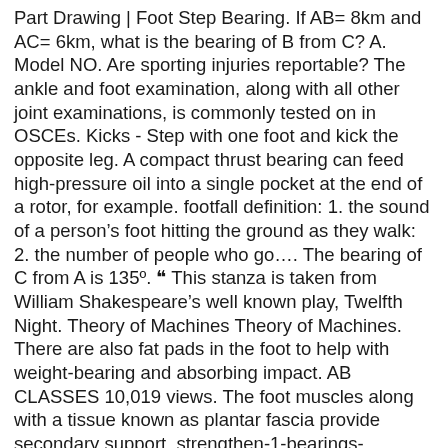Part Drawing | Foot Step Bearing. If AB= 8km and AC= 6km, what is the bearing of B from C? A. Model NO. Are sporting injuries reportable? The ankle and foot examination, along with all other joint examinations, is commonly tested on in OSCEs. Kicks - Step with one foot and kick the opposite leg. A compact thrust bearing can feed high-pressure oil into a single pocket at the end of a rotor, for example. footfall definition: 1. the sound of a person's foot hitting the ground as they walk: 2. the number of people who go…. The bearing of C from A is 135º. ❝ This stanza is taken from William Shakespeare's well known play, Twelfth Night. Theory of Machines Theory of Machines. There are also fat pads in the foot to help with weight-bearing and absorbing impact. AB CLASSES 10,019 views. The foot muscles along with a tissue known as plantar fascia provide secondary support. strengthen-1-bearings-calculating. No, most are not, since they arise out of the normal participation in a sporting activity (eg a heavy tackle in football). Question is ❝ A foot step bearing and rotor of a vertical turbine form examples of., Options are ❝ (A) incompletely